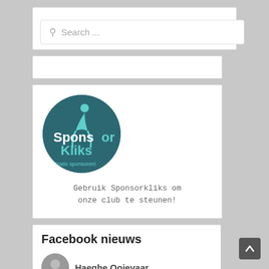Search ...
[Figure (logo): SponsorKliks circular logo: teal/dark blue circle with a figure, 'SponsorKliks' text in white and teal, 'Gratis sponsoren!' tagline]
Gebruik Sponsorkliks om onze club te steunen!
Facebook nieuws
Haeghe Ooievaar